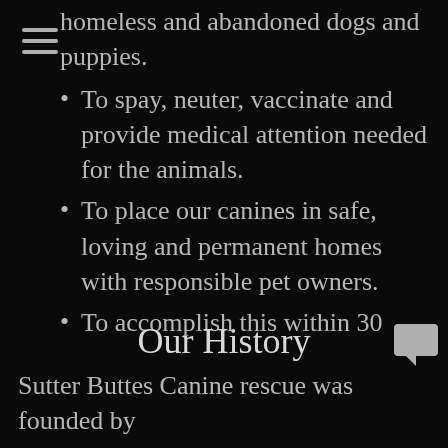homeless and abandoned dogs and puppies.
To spay, neuter, vaccinate and provide medical attention needed for the animals.
To place our canines in safe, loving and permanent homes with responsible pet owners.
To accomplish this within 30 days of the animals arriving, if possible, due to the fact that Sutter Buttes Canine Rescue is not a sanctuary.
Our History
Sutter Buttes Canine rescue was founded by